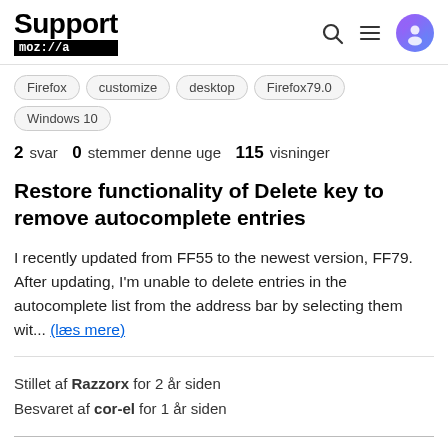Support moz://a
Firefox
customize
desktop
Firefox79.0
Windows 10
2 svar   0 stemmer denne uge   115 visninger
Restore functionality of Delete key to remove autocomplete entries
I recently updated from FF55 to the newest version, FF79. After updating, I'm unable to delete entries in the autocomplete list from the address bar by selecting them wit... (læs mere)
Stillet af Razzorx for 2 år siden
Besvaret af cor-el for 1 år siden